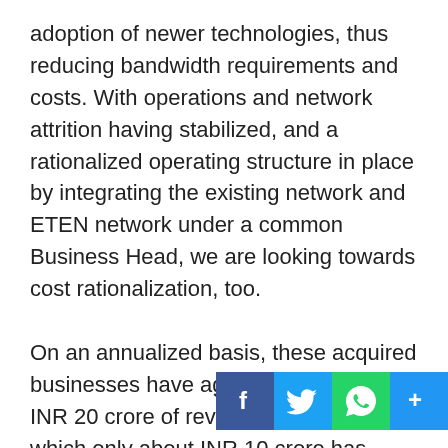adoption of newer technologies, thus reducing bandwidth requirements and costs. With operations and network attrition having stabilized, and a rationalized operating structure in place by integrating the existing network and ETEN network under a common Business Head, we are looking towards cost rationalization, too.
On an annualized basis, these acquired businesses have aggregated to about INR 20 crore of revenues in 2017-18, of which only about INR 10 crore has accrued to CL (timing of the deal and minority adjusted). On the other hand, all the investments have happened as envisaged, whose benefits are likely to be visible over FY2019. In short, the above-mentioned test-prep acquisitions were in investment phase targeting significantly large market segments. If executed well